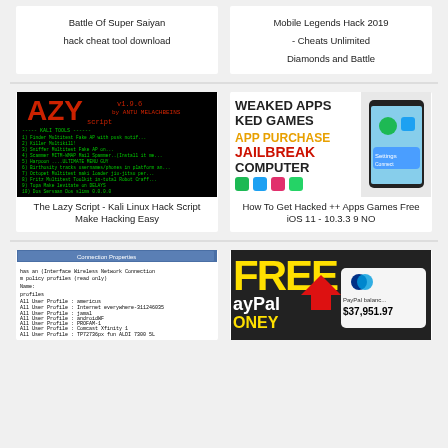Battle Of Super Saiyan hack cheat tool download
Mobile Legends Hack 2019 - Cheats Unlimited Diamonds and Battle
[Figure (screenshot): The Lazy Script - Kali Linux terminal hack script interface with red text on black background]
The Lazy Script - Kali Linux Hack Script Make Hacking Easy
[Figure (infographic): Tweaked Apps, Hacked Games, App Purchase, Jailbreak, Computer - promotional graphic with app icons]
How To Get Hacked ++ Apps Games Free iOS 11 - 10.3.3 9 NO
[Figure (screenshot): Command line interface showing wireless network connection profiles]
[Figure (infographic): Free PayPal Money promotional graphic showing PayPal balance of $37,951.97]